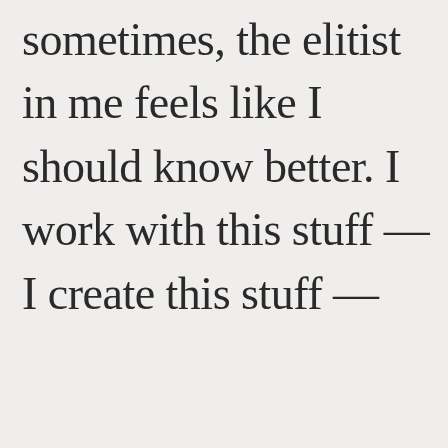sometimes, the elitist in me feels like I should know better. I work with this stuff — I create this stuff —